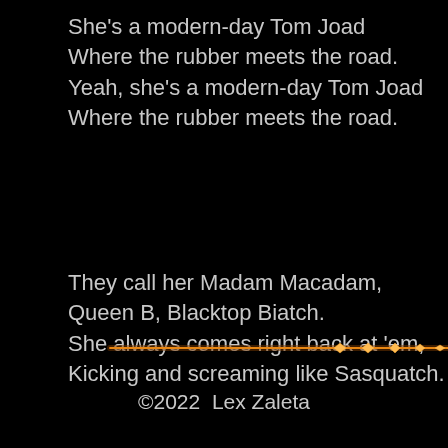She's a modern-day Tom Joad
Where the rubber meets the road.
Yeah, she's a modern-day Tom Joad
Where the rubber meets the road.
They call her Madam Macadam,
Queen B, Blacktop Biatch.
She always comes right back at 'em,
Kicking and screaming like Sasquatch.
Copyright © 2016 Lex Zaleta
[Figure (illustration): A horizontal decorative line/divider with an orange/amber glow and several diamond-shaped points along it, rendered on a black background.]
©2022  Lex Zaleta